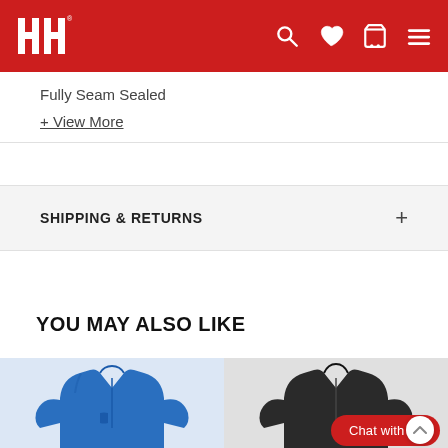[Figure (logo): Helly Hansen HH logo in white on red header bar with search, heart, cart, and menu icons]
Fully Seam Sealed
+ View More
SHIPPING & RETURNS
YOU MAY ALSO LIKE
[Figure (photo): Blue jacket product image]
[Figure (photo): Dark/black jacket product image with Chat with us button overlay]